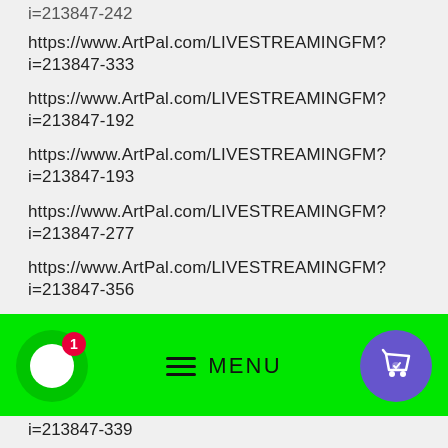https://www.ArtPal.com/LIVESTREAMINGFM?i=213847-242
https://www.ArtPal.com/LIVESTREAMINGFM?i=213847-333
https://www.ArtPal.com/LIVESTREAMINGFM?i=213847-192
https://www.ArtPal.com/LIVESTREAMINGFM?i=213847-193
https://www.ArtPal.com/LIVESTREAMINGFM?i=213847-277
https://www.ArtPal.com/LIVESTREAMINGFM?i=213847-356
https://www.ArtPal.com/LIVESTREAMINGFM?i=213847-349
[Figure (screenshot): Green navigation bar with chat button (with badge '1'), hamburger MENU button, and purple cart/shopping bag button]
i=213847-339